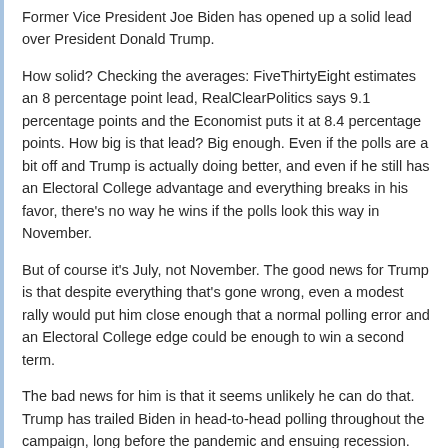Former Vice President Joe Biden has opened up a solid lead over President Donald Trump.
How solid? Checking the averages: FiveThirtyEight estimates an 8 percentage point lead, RealClearPolitics says 9.1 percentage points and the Economist puts it at 8.4 percentage points. How big is that lead? Big enough. Even if the polls are a bit off and Trump is actually doing better, and even if he still has an Electoral College advantage and everything breaks in his favor, there's no way he wins if the polls look this way in November.
But of course it's July, not November. The good news for Trump is that despite everything that's gone wrong, even a modest rally would put him close enough that a normal polling error and an Electoral College edge could be enough to win a second term.
The bad news for him is that it seems unlikely he can do that. Trump has trailed Biden in head-to-head polling throughout the campaign, long before the pandemic and ensuing recession. It's anybody's guess what will happen with the virus by November, but it's hard to believe that it will no longer be a dominant issue — and Trump's polling on the pandemic is bad and getting worse.